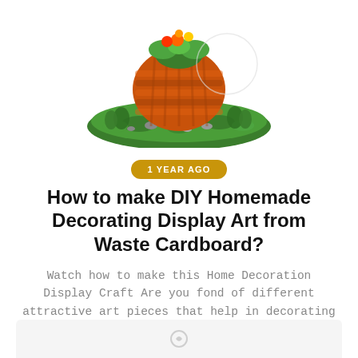[Figure (photo): Colorful handmade craft decoration resembling a pumpkin or basket with green base and orange woven body, surrounded by flowers and small rocks, on a white background.]
1 YEAR AGO
How to make DIY Homemade Decorating Display Art from Waste Cardboard?
Watch how to make this Home Decoration Display Craft Are you fond of different attractive art pieces that help in decorating your ...
[Figure (photo): Partially visible bottom card with a small icon, appears to be another article thumbnail.]